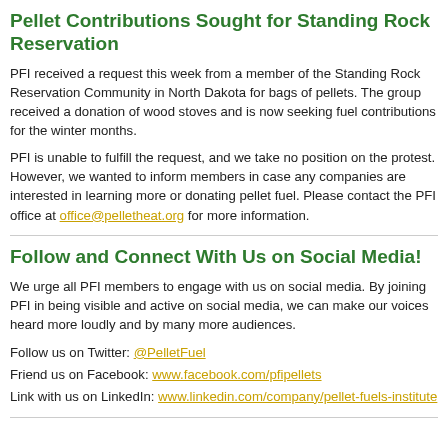Pellet Contributions Sought for Standing Rock Reservation
PFI received a request this week from a member of the Standing Rock Reservation Community in North Dakota for bags of pellets. The group received a donation of wood stoves and is now seeking fuel contributions for the winter months.
PFI is unable to fulfill the request, and we take no position on the protest. However, we wanted to inform members in case any companies are interested in learning more or donating pellet fuel. Please contact the PFI office at office@pelletheat.org for more information.
Follow and Connect With Us on Social Media!
We urge all PFI members to engage with us on social media. By joining PFI in being visible and active on social media, we can make our voices heard more loudly and by many more audiences.
Follow us on Twitter: @PelletFuel
Friend us on Facebook: www.facebook.com/pfipellets
Link with us on LinkedIn: www.linkedin.com/company/pellet-fuels-institute